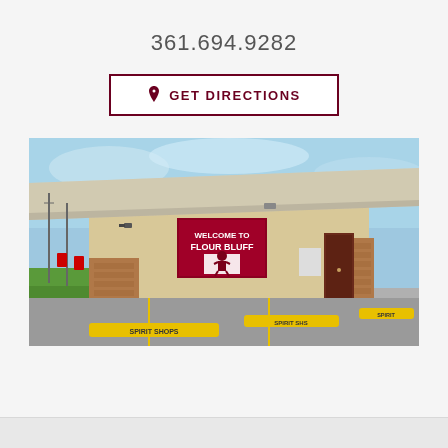361.694.9282
GET DIRECTIONS
[Figure (photo): Exterior photo of Flour Bluff Spirit Shops location. A tan/beige commercial building with brick accents and a wide overhanging roof canopy. Parking lot in foreground with yellow curb stops labeled 'SPIRIT SHOPS'. A sign on the building reads 'WELCOME TO FLOUR BLUFF' with a mascot logo. Stop signs and utility poles visible in background.]